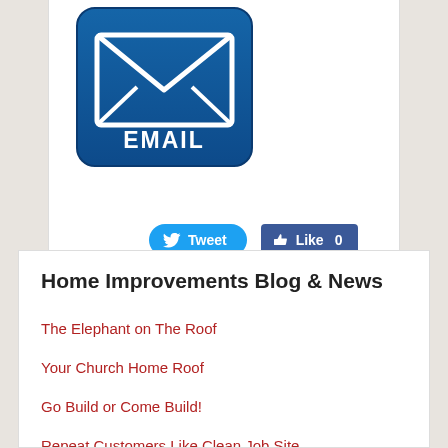[Figure (illustration): Blue email button icon with envelope graphic and 'EMAIL' text label in white on a blue rounded rectangle background]
[Figure (infographic): Social media sharing buttons: a blue rounded 'Tweet' button with Twitter bird icon, and a blue Facebook 'Like 0' button with thumbs up icon]
Home Improvements Blog & News
The Elephant on The Roof
Your Church Home Roof
Go Build or Come Build!
Repeat Customers Like Clean Job Site
Beautiful Beach Houses in Tennessee Make Sense